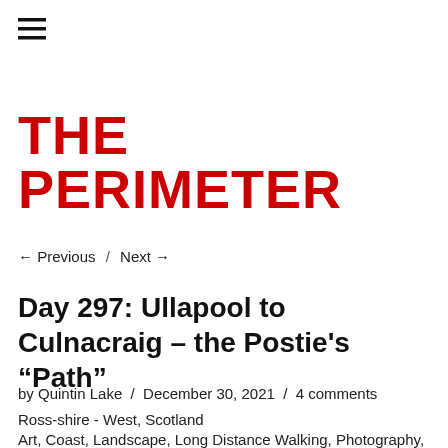[Figure (other): Hamburger menu icon (three horizontal lines)]
THE PERIMETER
← Previous  /  Next →
Day 297: Ullapool to Culnacraig – the Postie's “Path”
by Quintin Lake  /  December 30, 2021  /  4 comments
Ross-shire - West, Scotland
Art, Coast, Landscape, Long Distance Walking, Photography, Travel